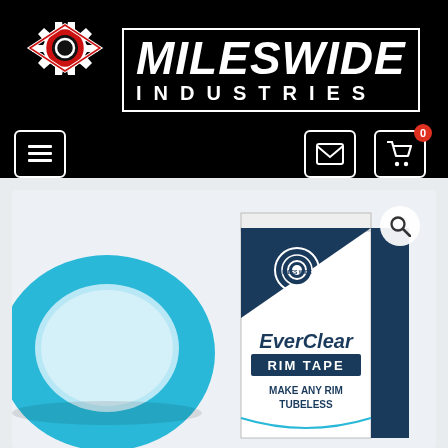[Figure (logo): Miles Wide Industries logo on black background with gear icon, white text 'MilesWide INDUSTRIES']
[Figure (screenshot): Navigation bar with hamburger menu button on left, mail and cart (0 items) icons on right, on black background]
[Figure (photo): Product photo showing a cyan/blue tubeless rim tape ring next to its packaging box labeled 'EverClear RIM TAPE - MAKE ANY RIM TUBELESS' by Miles Wide Industries]